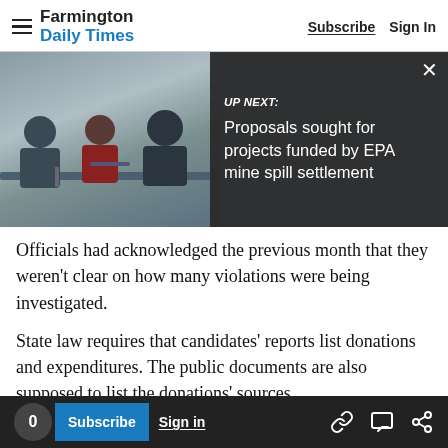Farmington Daily Times | Subscribe | Sign In
[Figure (screenshot): UP NEXT overlay on photo: 'UP NEXT: Proposals sought for projects funded by EPA mine spill settlement' with close button X, over a photo of people at a conference table]
Officials had acknowledged the previous month that they weren't clear on how many violations were being investigated.
State law requires that candidates' reports list donations and expenditures. The public documents are also supposed to list the donations' sources.
Balderas said his office had received only one
0 | Subscribe | Sign in | [link icon] [comment icon] [share icon]